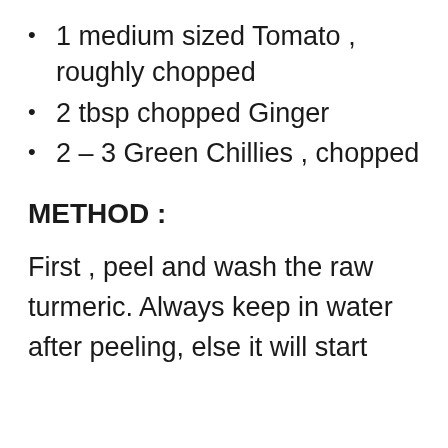1 medium sized Tomato , roughly chopped
2 tbsp chopped Ginger
2 – 3 Green Chillies , chopped
METHOD :
First , peel and wash the raw turmeric. Always keep in water after peeling, else it will start